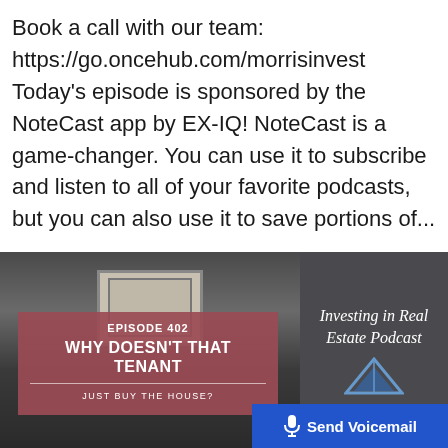Book a call with our team: https://go.oncehub.com/morrisinvest Today's episode is sponsored by the NoteCast app by EX-IQ! NoteCast is a game-changer. You can use it to subscribe and listen to all of your favorite podcasts, but you can also use it to save portions of...
[Figure (illustration): Podcast episode artwork split into two panels. Left panel shows a hallway/door photo with a maroon overlay box reading 'EPISODE 402 / WHY DOESN'T THAT TENANT / JUST BUY THE HOUSE?'. Right panel is dark gray with italic text 'Investing in Real Estate Podcast' and a logo. A blue 'Send Voicemail' button overlays the bottom right.]